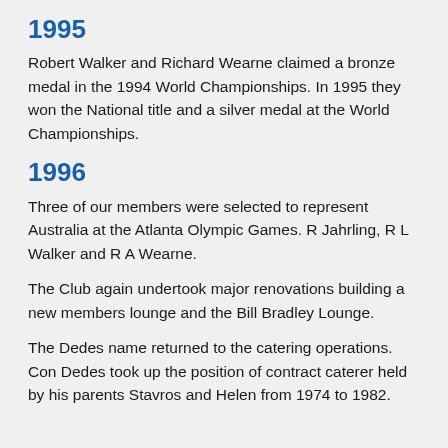1995
Robert Walker and Richard Wearne claimed a bronze medal in the 1994 World Championships. In 1995 they won the National title and a silver medal at the World Championships.
1996
Three of our members were selected to represent Australia at the Atlanta Olympic Games. R Jahrling, R L Walker and R A Wearne.
The Club again undertook major renovations building a new members lounge and the Bill Bradley Lounge.
The Dedes name returned to the catering operations. Con Dedes took up the position of contract caterer held by his parents Stavros and Helen from 1974 to 1982.